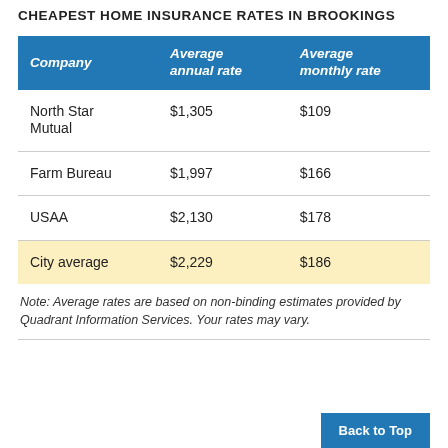CHEAPEST HOME INSURANCE RATES IN BROOKINGS
| Company | Average annual rate | Average monthly rate |
| --- | --- | --- |
| North Star Mutual | $1,305 | $109 |
| Farm Bureau | $1,997 | $166 |
| USAA | $2,130 | $178 |
| City average | $2,229 | $186 |
Note: Average rates are based on non-binding estimates provided by Quadrant Information Services. Your rates may vary.
Back to Top